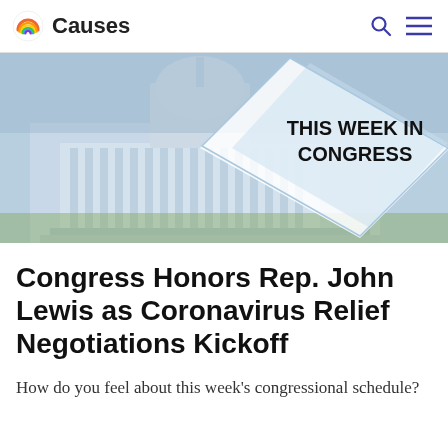Causes
[Figure (photo): US Capitol building banner image with a diamond/rhombus overlay containing the text 'THIS WEEK IN CONGRESS' in bold black uppercase letters on a light blue/white background]
Congress Honors Rep. John Lewis as Coronavirus Relief Negotiations Kickoff
How do you feel about this week's congressional schedule?